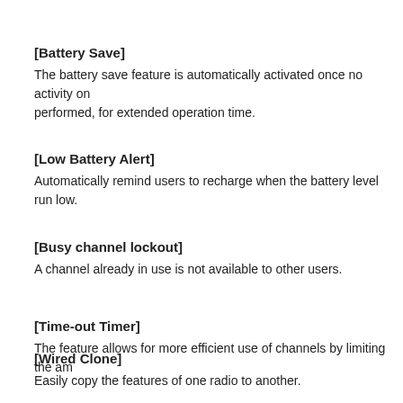[Battery Save]
The battery save feature is automatically activated once no activity on performed, for extended operation time.
[Low Battery Alert]
Automatically remind users to recharge when the battery level run low.
[Busy channel lockout]
A channel already in use is not available to other users.
[Time-out Timer]
The feature allows for more efficient use of channels by limiting the am
[Wired Clone]
Easily copy the features of one radio to another.